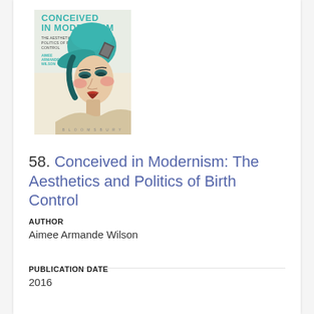[Figure (illustration): Book cover of 'Conceived in Modernism: The Aesthetics and Politics of Birth Control' by Aimee Armande Wilson, published by Bloomsbury. Cover features an Art Deco style illustration of a woman wearing a teal/turquoise hat, with red lipstick and rosy cheeks.]
58. Conceived in Modernism: The Aesthetics and Politics of Birth Control
AUTHOR
Aimee Armande Wilson
PUBLICATION DATE
2016